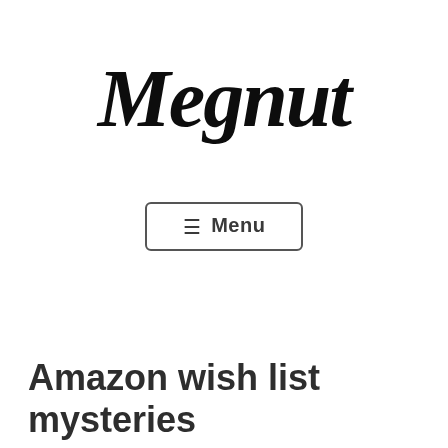Megnut
≡ Menu
Amazon wish list mysteries